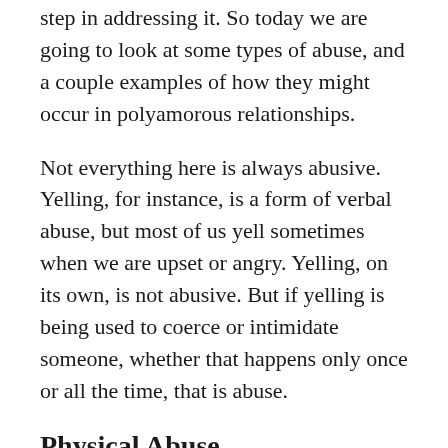step in addressing it. So today we are going to look at some types of abuse, and a couple examples of how they might occur in polyamorous relationships.
Not everything here is always abusive. Yelling, for instance, is a form of verbal abuse, but most of us yell sometimes when we are upset or angry. Yelling, on its own, is not abusive. But if yelling is being used to coerce or intimidate someone, whether that happens only once or all the time, that is abuse.
Physical Abuse
This is the one that most people think of first. Physical abuse can include everything from